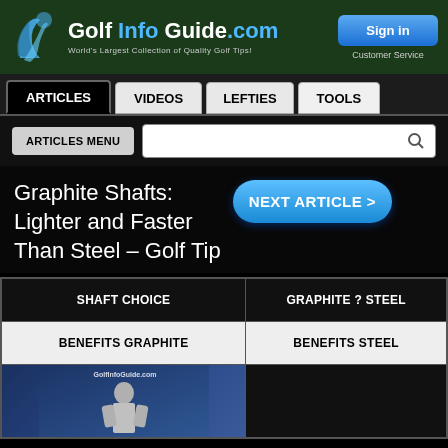Golf Info Guide .com — World's Largest Collection of Quality Golf Tips! | Sign in | Customer Service
ARTICLES | VIDEOS | LEFTIES | TOOLS
ARTICLES MENU [search]
Graphite Shafts: Lighter and Faster Than Steel – Golf Tip
| SHAFT CHOICE | GRAPHITE ? STEEL |
| --- | --- |
| BENEFITS GRAPHITE | BENEFITS STEEL |
[Figure (screenshot): Golf instruction video thumbnail showing a golfer with GolfInfoGuide.com watermark]